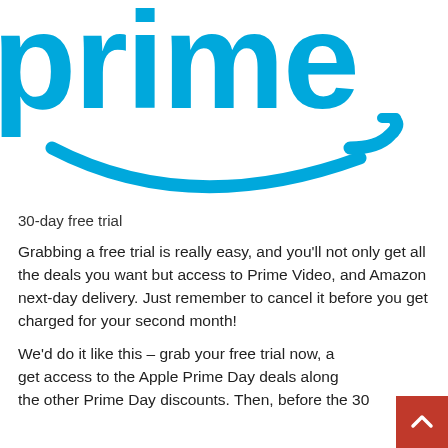[Figure (logo): Amazon Prime logo — large 'prime' text in sky blue and the Amazon smile arrow beneath it]
30-day free trial
Grabbing a free trial is really easy, and you'll not only get all the deals you want but access to Prime Video, and Amazon next-day delivery. Just remember to cancel it before you get charged for your second month!
We'd do it like this – grab your free trial now, and get access to the Apple Prime Day deals along with the other Prime Day discounts. Then, before the 30